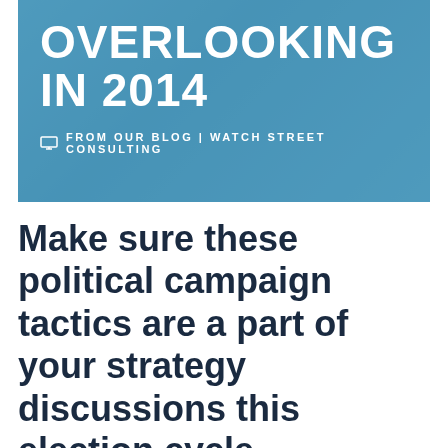[Figure (illustration): Blue banner header with bold white text reading 'OVERLOOKING IN 2014' and a blog label 'FROM OUR BLOG | WATCH STREET CONSULTING' with a small monitor/screen icon.]
Make sure these political campaign tactics are a part of your strategy discussions this election cycle